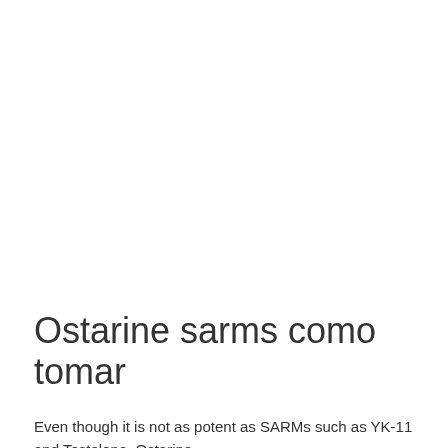Ostarine sarms como tomar
Even though it is not as potent as SARMs such as YK-11 and Testolone, Ostarine